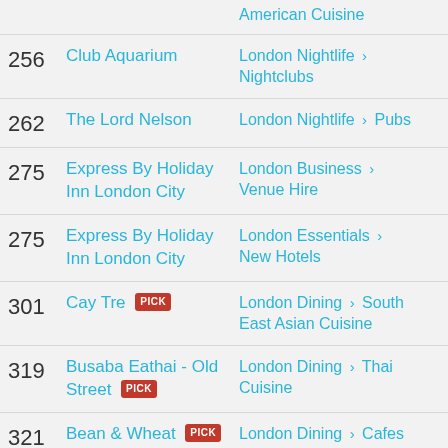American Cuisine
256  Club Aquarium  London Nightlife > Nightclubs
262  The Lord Nelson  London Nightlife > Pubs
275  Express By Holiday Inn London City  London Business > Venue Hire
275  Express By Holiday Inn London City  London Essentials > New Hotels
301  Cay Tre [PICK]  London Dining > South East Asian Cuisine
319  Busaba Eathai - Old Street [PICK]  London Dining > Thai Cuisine
321  Bean & Wheat [PICK]  London Dining > Cafes and Delis
327  Smallfish  London Dining > Cafes